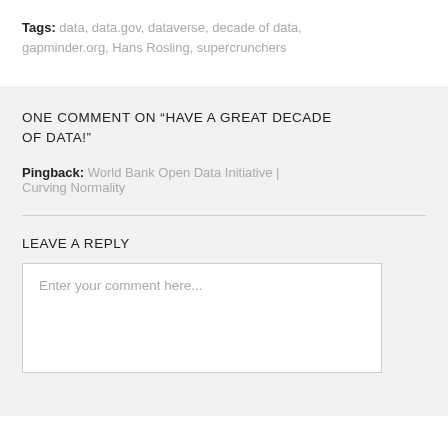Tags: data, data.gov, dataverse, decade of data, gapminder.org, Hans Rosling, supercrunchers
ONE COMMENT ON “HAVE A GREAT DECADE OF DATA!”
Pingback: World Bank Open Data Initiative | Curving Normality
LEAVE A REPLY
Enter your comment here...